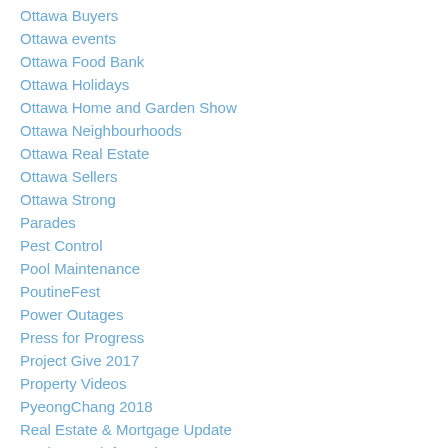Ottawa Buyers
Ottawa events
Ottawa Food Bank
Ottawa Holidays
Ottawa Home and Garden Show
Ottawa Neighbourhoods
Ottawa Real Estate
Ottawa Sellers
Ottawa Strong
Parades
Pest Control
Pool Maintenance
PoutineFest
Power Outages
Press for Progress
Project Give 2017
Property Videos
PyeongChang 2018
Real Estate & Mortgage Update
Real estate information